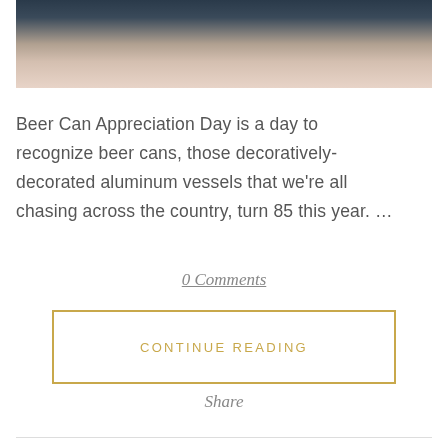[Figure (photo): Partial photo showing a person wearing a floral embroidered garment, with dark background elements visible at top]
Beer Can Appreciation Day is a day to recognize beer cans, those decoratively-decorated aluminum vessels that we're all chasing across the country, turn 85 this year. …
0 Comments
CONTINUE READING
Share